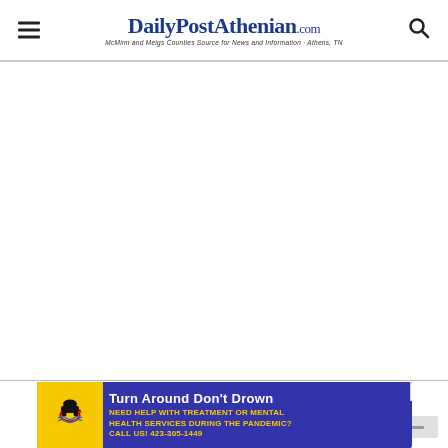DailyPostAthenian.com — McMinn and Meigs Counties Source for News and Information · Athens, TN
[Figure (other): Large blank white content area — advertisement or content placeholder]
[Figure (other): Small minimize/collapse button widget at bottom right of content area]
[Figure (other): Turn Around Don't Drown advertisement banner — blue background with yellow warning diamond sign graphic. Text: NEED HELP WITH TREATMENT OR MENTAL HEALTH SERVICES DURING THE PANDEMIC? CALL US! 423-305-1449. Tennessee Department of Mental Health & Substance Abuse Services.]